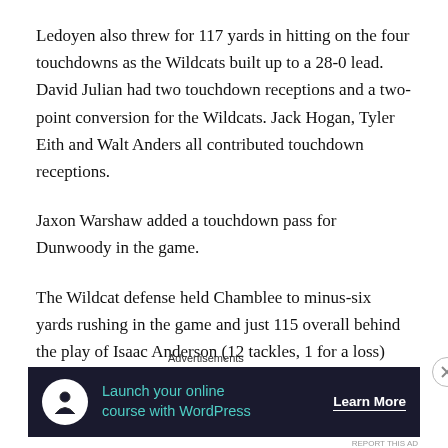Ledoyen also threw for 117 yards in hitting on the four touchdowns as the Wildcats built up to a 28-0 lead. David Julian had two touchdown receptions and a two-point conversion for the Wildcats. Jack Hogan, Tyler Eith and Walt Anders all contributed touchdown receptions.
Jaxon Warshaw added a touchdown pass for Dunwoody in the game.
The Wildcat defense held Chamblee to minus-six yards rushing in the game and just 115 overall behind the play of Isaac Anderson (12 tackles, 1 for a loss) and interceptions by Cash Goolsby, Cevon Mitchell and Grant
Advertisements
[Figure (other): Advertisement banner with dark navy background showing WordPress online course promotion with tree/person icon, teal text 'Launch your online course with WordPress' and 'Learn More' button in white]